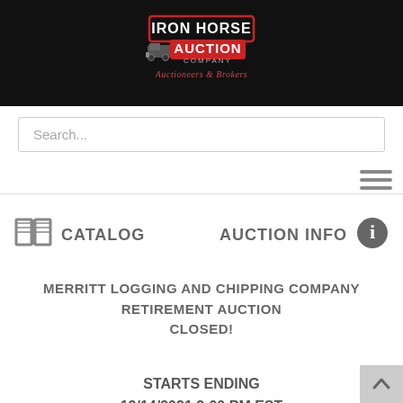[Figure (logo): Iron Horse Auction Company — Auctioneers & Brokers logo on black background]
Search...
[Figure (infographic): Hamburger menu icon (three horizontal lines)]
CATALOG
AUCTION INFO
MERRITT LOGGING AND CHIPPING COMPANY RETIREMENT AUCTION CLOSED!
STARTS ENDING 12/14/2021 2:00 PM EST